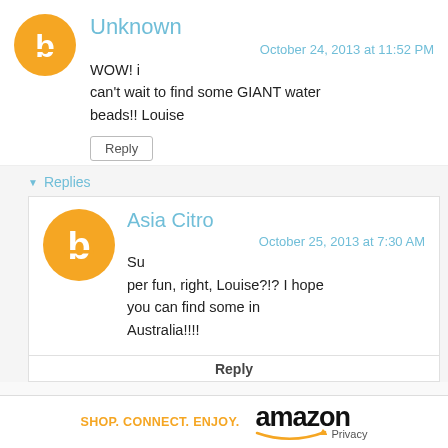Unknown
October 24, 2013 at 11:52 PM
WOW! i can't wait to find some GIANT water beads!! Louise
Reply
Replies
Asia Citro
October 25, 2013 at 7:30 AM
Su per fun, right, Louise?!? I hope you can find some in Australia!!!!
Reply
[Figure (logo): Amazon logo with tagline SHOP. CONNECT. ENJOY. and Privacy text]